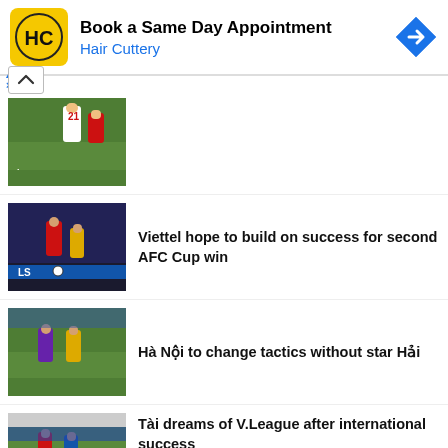[Figure (screenshot): Hair Cuttery advertisement banner: yellow square logo with HC letters, text 'Book a Same Day Appointment' and 'Hair Cuttery' in blue, blue diamond arrow icon on right]
[Figure (photo): Soccer/football match photo showing player with number 21 jersey in white, Viettel branding visible]
[Figure (photo): Soccer/football night match photo showing players in red and yellow jerseys, LS sponsor board visible]
Viettel hope to build on success for second AFC Cup win
[Figure (photo): Soccer/football match photo showing player in purple jersey and player in yellow jersey on green pitch at stadium]
Hà Nội to change tactics without star Hải
[Figure (photo): Soccer/football photo showing players, partially visible at bottom of page]
Tài dreams of V.League after international success